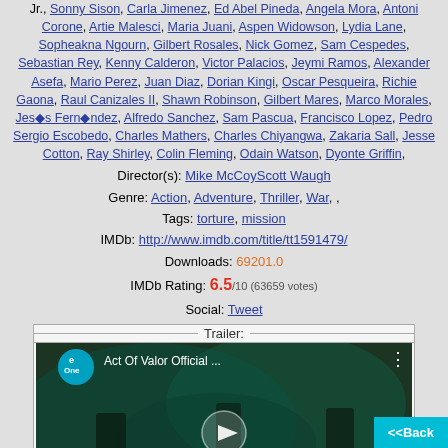Jr., Sonny Sison, Carla Jimenez, Ed Abel Pineda, Angela Mora, Antoni Corone, Artie Malesci, Maria Juani, Aspen Widowson, Lydia Lane, Sopheakna Ngourn, Gilbert Rosales, Nick Gomez, Sam Cespedes, Sebastian Rey, Kenny Calderon, Victor Palacios, Jeymi Ramos, Alexander Asefa, Mario Perez, Juan Diaz, Dorian Kingi, Oscar Pesqueira, Richie Gaona, Raul Canizales II, Shawn Robinson, Gilbert Mares, Marco Morales, Jesús Fernández, Alfredo Sanchez, Sam Pascua, Francisco Lopez, Pedro Sergio Escobedo, Charles Mathers, Charles Chiyangwa, Zakaria Sall, Jesse Cotton, Ray Shirley, Colin Fleming, Odain Watson, Dyonte Griffin,
Director(s): Mike McCoyScott Waugh
Genre: Action, Adventure, Thriller, War, ,
Tags: torture, mission
IMDb: http://www.imdb.com/title/tt1591479/
Downloads: 69201.0
IMDb Rating: 6.5/10 (63659 votes)
Social: Tweet
[Figure (screenshot): YouTube-style video thumbnail for 'Act Of Valor Official...' from eOne channel with play button overlay]
<<Back